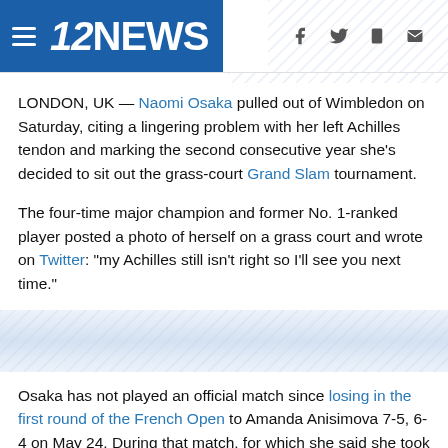12NEWS
LONDON, UK — Naomi Osaka pulled out of Wimbledon on Saturday, citing a lingering problem with her left Achilles tendon and marking the second consecutive year she's decided to sit out the grass-court Grand Slam tournament.
The four-time major champion and former No. 1-ranked player posted a photo of herself on a grass court and wrote on Twitter: "my Achilles still isn't right so I'll see you next time."
Osaka has not played an official match since losing in the first round of the French Open to Amanda Anisimova 7-5, 6-4 on May 24. During that match, for which she said she took